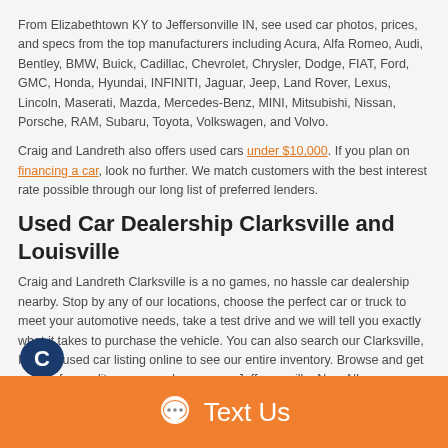From Elizabethtown KY to Jeffersonville IN, see used car photos, prices, and specs from the top manufacturers including Acura, Alfa Romeo, Audi, Bentley, BMW, Buick, Cadillac, Chevrolet, Chrysler, Dodge, FIAT, Ford, GMC, Honda, Hyundai, INFINITI, Jaguar, Jeep, Land Rover, Lexus, Lincoln, Maserati, Mazda, Mercedes-Benz, MINI, Mitsubishi, Nissan, Porsche, RAM, Subaru, Toyota, Volkswagen, and Volvo.
Craig and Landreth also offers used cars under $10,000. If you plan on financing a car, look no further. We match customers with the best interest rate possible through our long list of preferred lenders.
Used Car Dealership Clarksville and Louisville
Craig and Landreth Clarksville is a no games, no hassle car dealership nearby. Stop by any of our locations, choose the perfect car or truck to meet your automotive needs, take a test drive and we will tell you exactly what it takes to purchase the vehicle. You can also search our Clarksville, Indiana used car listing online to see our entire inventory. Browse and get quotes for quality pre owned cars, near Jeffersonville, New Albany, Scottsburg, Salem, Louisville, and Shepherdsville areas.
[Figure (logo): Circular logo with letter C on dark blue background]
Text Us